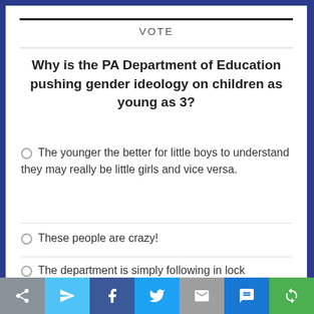VOTE
Why is the PA Department of Education pushing gender ideology on children as young as 3?
The younger the better for little boys to understand they may really be little girls and vice versa.
These people are crazy!
The department is simply following in lock step with Governor Wolf and his Democrat Party...